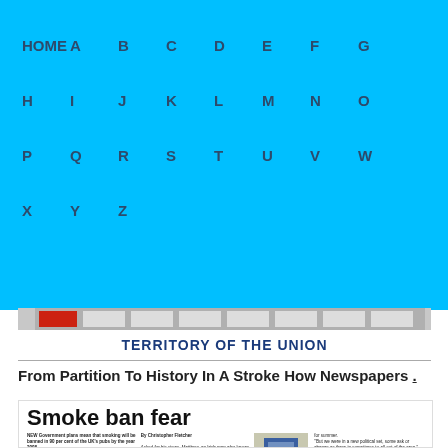HOME A B C D E F G H I J K L M N O P Q R S T U V W X Y Z
[Figure (screenshot): Newspaper banner reading 'TERRITORY OF THE UNION']
From Partition To History In A Stroke How Newspapers .
[Figure (screenshot): Newspaper clipping with headline 'Smoke ban fear' by Christopher Fletcher, with article text and image of The Royal Oaks pub sign]